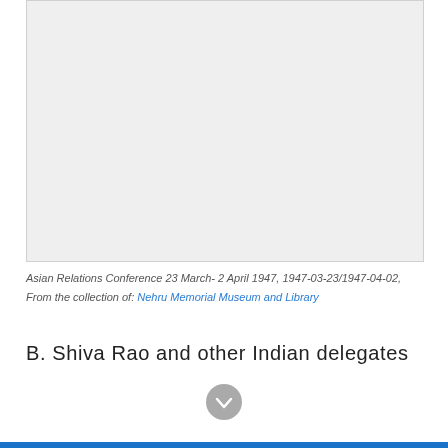[Figure (photo): A light gray rectangular placeholder representing a photograph from the Asian Relations Conference 23 March–2 April 1947]
Asian Relations Conference 23 March- 2 April 1947, 1947-03-23/1947-04-02, From the collection of: Nehru Memorial Museum and Library
B. Shiva Rao and other Indian delegates